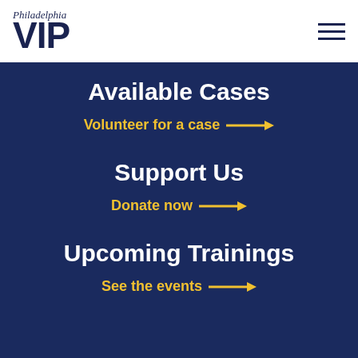[Figure (logo): Philadelphia VIP logo — script 'Philadelphia' above bold 'VIP' in navy blue]
[Figure (other): Hamburger menu icon — three horizontal navy lines]
Available Cases
Volunteer for a case →
Support Us
Donate now →
Upcoming Trainings
See the events →